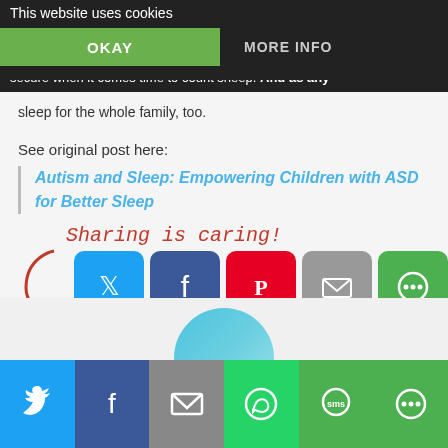your child is likely to feel significantly more relaxed and secure when it comes time to count sheep. And as any ...hild sleeps, that means better sleep for the whole family, too.
This website uses cookies
OKAY
MORE INFO
See original post here:
Autism and Sleep: Empowering Children with ASD for Better Sleep
[Figure (screenshot): Sharing is caring! label with red arrow and five social sharing buttons: Twitter (blue), Facebook (dark blue), Pinterest (red), Email (gray), More (green)]
You may also like:
[Figure (screenshot): Bottom sharing bar with Twitter, Facebook, Email, WhatsApp, SMS, and More buttons]